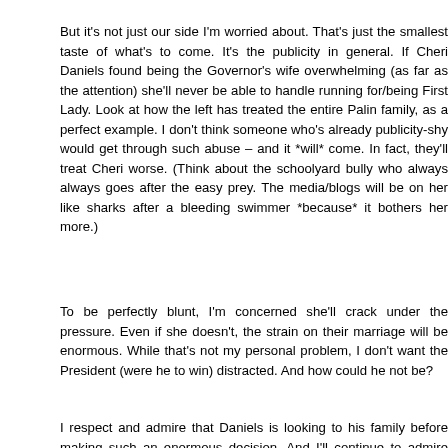But it's not just our side I'm worried about. That's just the smallest taste of what's to come. It's the publicity in general. If Cheri Daniels found being the Governor's wife overwhelming (as far as the attention) she'll never be able to handle running for/being First Lady. Look at how the left has treated the entire Palin family, as a perfect example. I don't think someone who's already publicity-shy would get through such abuse – and it *will* come. In fact, they'll treat Cheri worse. (Think about the schoolyard bully who always always goes after the easy prey. The media/blogs will be on her like sharks after a bleeding swimmer *because* it bothers her more.)
To be perfectly blunt, I'm concerned she'll crack under the pressure. Even if she doesn't, the strain on their marriage will be enormous. While that's not my personal problem, I don't want the President (were he to win) distracted. And how could he not be?
I respect and admire that Daniels is looking to his family before making such an enormous decision. And I'll continue to admire him if he decides the risks to his loved ones and